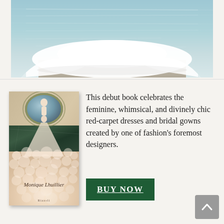[Figure (photo): Top portion of a white bridal gown/wedding dress laid out near water (ocean/sea), showing flowing white fabric and train on what appears to be a dock or surface, with blue water visible in the background.]
[Figure (photo): Book cover of 'Monique Lhuillier' featuring a woman in a large fluffy pink/blush ball gown standing in front of an ornate mirror in a marble-floored room. Published by Rizzoli.]
This debut book celebrates the feminine, whimsical, and divinely chic red-carpet dresses and bridal gowns created by one of fashion's foremost designers.
BUY NOW